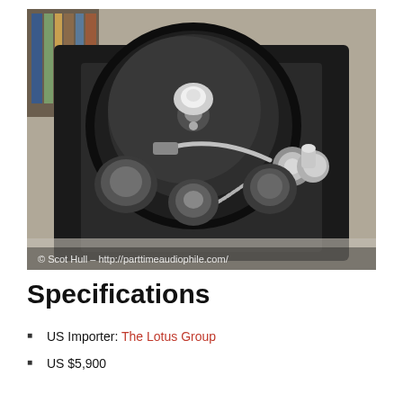[Figure (photo): Close-up overhead photo of a high-end turntable with a tonearm and platter mechanism on a dark plinth. Text overlay at bottom: '© Scot Hull – http://parttimeaudiophile.com/']
Specifications
US Importer: The Lotus Group
US $5,900